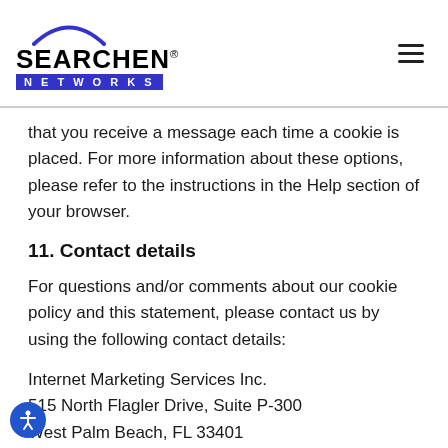SEARCHEN NETWORKS
that you receive a message each time a cookie is placed. For more information about these options, please refer to the instructions in the Help section of your browser.
11. Contact details
For questions and/or comments about our cookie policy and this statement, please contact us by using the following contact details:
Internet Marketing Services Inc.
515 North Flagler Drive, Suite P-300
West Palm Beach, FL 33401
United States of America